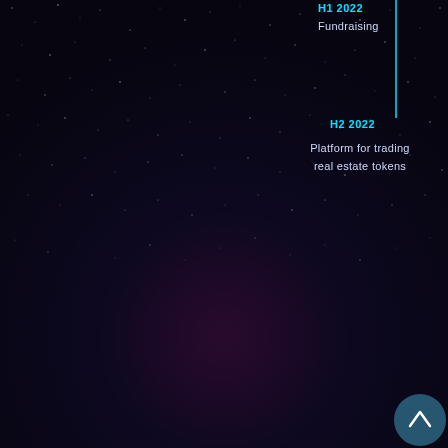H1 2022
Fundraising
H2 2022
Platform for trading real estate tokens
[Figure (infographic): Dark starfield background with deep purple/navy gradient. Timeline infographic showing H1 2022 Fundraising milestone and H2 2022 Platform for trading real estate tokens milestone, connected by a vertical cyan/teal line. A scroll-up navigation button in teal circle at bottom right.]